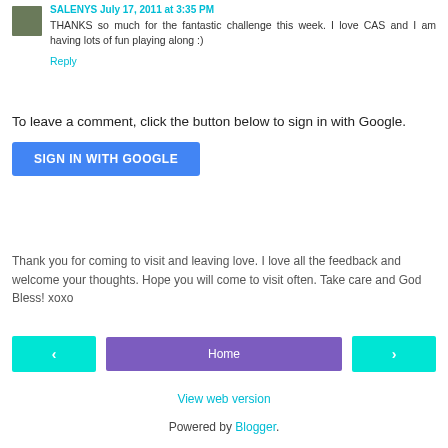SALENYS July 17, 2011 at 3:35 PM
THANKS so much for the fantastic challenge this week. I love CAS and I am having lots of fun playing along :)
Reply
To leave a comment, click the button below to sign in with Google.
SIGN IN WITH GOOGLE
Thank you for coming to visit and leaving love. I love all the feedback and welcome your thoughts. Hope you will come to visit often. Take care and God Bless! xoxo
‹
Home
›
View web version
Powered by Blogger.